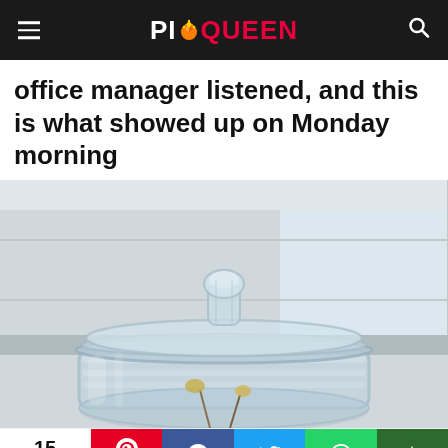PieQueen
office manager listened, and this is what showed up on Monday morning
[Figure (photo): Close-up photo of a large empty glass jar with a glass lid on a windowsill or counter, with what appears to be some objects (possibly flowers or plant stems) inside at the bottom]
15 Shares | Pinterest 15 | Facebook | Twitter | WhatsApp | Crown/Save